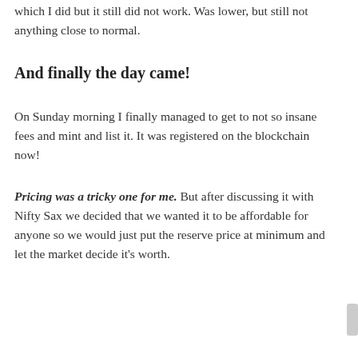which I did but it still did not work. Was lower, but still not anything close to normal.
And finally the day came!
On Sunday morning I finally managed to get to not so insane fees and mint and list it. It was registered on the blockchain now!
Pricing was a tricky one for me. But after discussing it with Nifty Sax we decided that we wanted it to be affordable for anyone so we would just put the reserve price at minimum and let the market decide it’s worth.